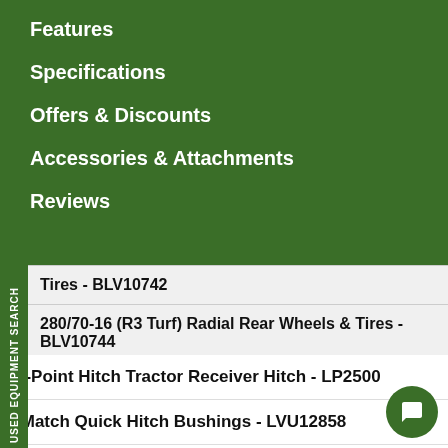Features
Specifications
Offers & Discounts
Accessories & Attachments
Reviews
Tires - BLV10742
280/70-16 (R3 Turf) Radial Rear Wheels & Tires - BLV10744
Three-point Hitch
3-Point Hitch Tractor Receiver Hitch - LP2500
iMatch Quick Hitch Bushings - LVU12858